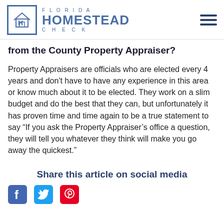FLORIDA HOMESTEAD CHECK
from the County Property Appraiser?
Property Appraisers are officials who are elected every 4 years and don't have to have any experience in this area or know much about it to be elected.  They work on a slim budget and do the best that they can, but unfortunately it has proven time and time again to be a true statement to say “If you ask the Property Appraiser’s office a question, they will tell you whatever they think will make you go away the quickest.”
Share this article on social media
[Figure (logo): Social media icons: Facebook, Twitter, Pinterest]